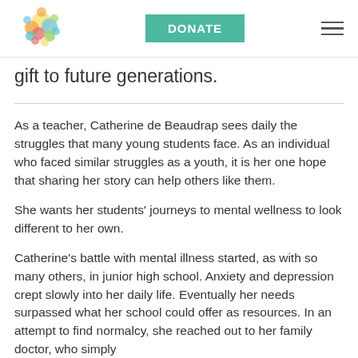DONATE
gift to future generations.
As a teacher, Catherine de Beaudrap sees daily the struggles that many young students face. As an individual who faced similar struggles as a youth, it is her one hope that sharing her story can help others like them.
She wants her students’ journeys to mental wellness to look different to her own.
Catherine’s battle with mental illness started, as with so many others, in junior high school. Anxiety and depression crept slowly into her daily life. Eventually her needs surpassed what her school could offer as resources. In an attempt to find normalcy, she reached out to her family doctor, who simply